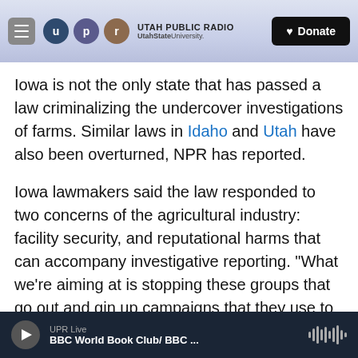UTAH PUBLIC RADIO | UtahState University | Donate
Iowa is not the only state that has passed a law criminalizing the undercover investigations of farms. Similar laws in Idaho and Utah have also been overturned, NPR has reported.
Iowa lawmakers said the law responded to two concerns of the agricultural industry: facility security, and reputational harms that can accompany investigative reporting. "What we're aiming at is stopping these groups that go out and gin up campaigns that they use to raise money by trying to give the agriculture industry a bad name," then-state Sen. Tom Rielly said at the time.
UPR Live | BBC World Book Club/ BBC ...